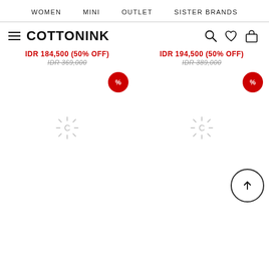WOMEN   MINI   OUTLET   SISTER BRANDS
COTTONINK
IDR 184,500 (50% OFF)
IDR 369,000
IDR 194,500 (50% OFF)
IDR 389,000
[Figure (screenshot): Two product image loading placeholders with red percentage discount badges, loading spinners, and a scroll-to-top button]
[Figure (screenshot): Scroll to top circular button with upward arrow icon]